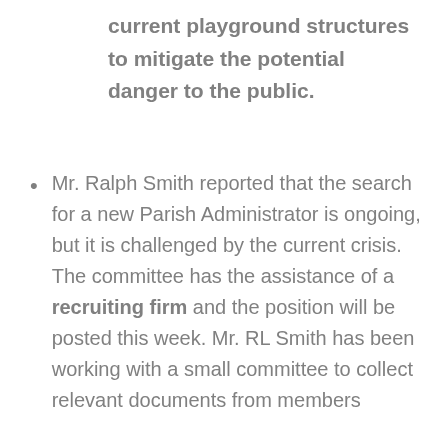current playground structures to mitigate the potential danger to the public.
Mr. Ralph Smith reported that the search for a new Parish Administrator is ongoing, but it is challenged by the current crisis. The committee has the assistance of a recruiting firm and the position will be posted this week. Mr. RL Smith has been working with a small committee to collect relevant documents from members